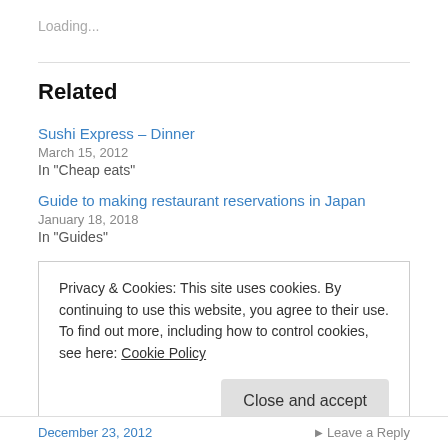Loading...
Related
Sushi Express – Dinner
March 15, 2012
In "Cheap eats"
Guide to making restaurant reservations in Japan
January 18, 2018
In "Guides"
Privacy & Cookies: This site uses cookies. By continuing to use this website, you agree to their use.
To find out more, including how to control cookies, see here: Cookie Policy
Close and accept
December 23, 2012 | Leave a Reply